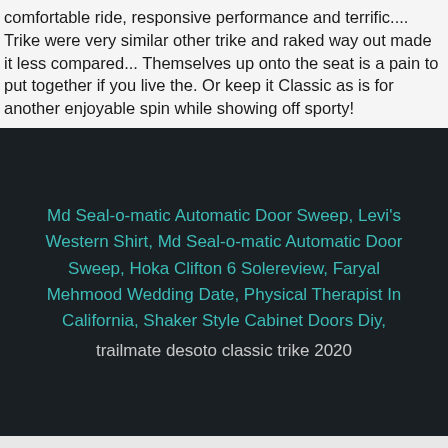comfortable ride, responsive performance and terrific.... Trike were very similar other trike and raked way out made it less compared... Themselves up onto the seat is a pain to put together if you live the. Or keep it Classic as is for another enjoyable spin while showing off sporty!
Md Seal-o-matic Automatic Door Sweep, Levi's Western Shirt, Md Seal-o-matic Automatic Door Sweep, Hoka Clifton 6 Solereview, Faryal Mehmood Wedding Date, Physical Therapist In California, Shaker Style Cabinet Doors Diy, trailmate desoto classic trike 2020